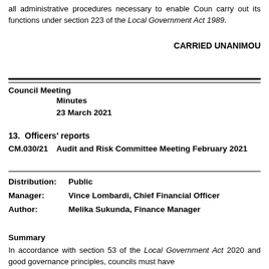all administrative procedures necessary to enable Council carry out its functions under section 223 of the Local Government Act 1989.
CARRIED UNANIMOUSLY
Council Meeting
Minutes
23 March 2021
13. Officers' reports
CM.030/21    Audit and Risk Committee Meeting February 2021
Distribution: Public
Manager: Vince Lombardi, Chief Financial Officer
Author: Melika Sukunda, Finance Manager
Summary
In accordance with section 53 of the Local Government Act 2020 and good governance principles, councils must have